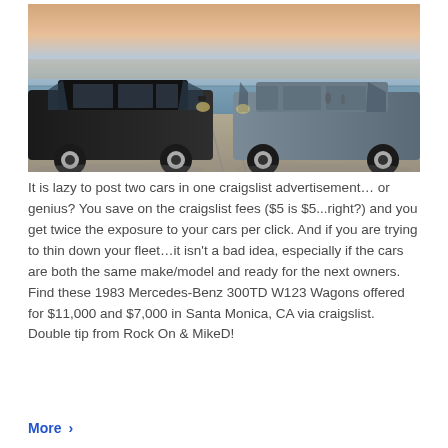[Figure (photo): Two 1983 Mercedes-Benz 300TD W123 station wagons parked on a beach lot facing each other, with ocean and sunset sky in background. Left car is dark/black, right car is grey/blue.]
It is lazy to post two cars in one craigslist advertisement... or genius? You save on the craigslist fees ($5 is $5...right?) and you get twice the exposure to your cars per click. And if you are trying to thin down your fleet...it isn't a bad idea, especially if the cars are both the same make/model and ready for the next owners. Find these 1983 Mercedes-Benz 300TD W123 Wagons offered for $11,000 and $7,000 in Santa Monica, CA via craigslist. Double tip from Rock On & MikeD!
More >